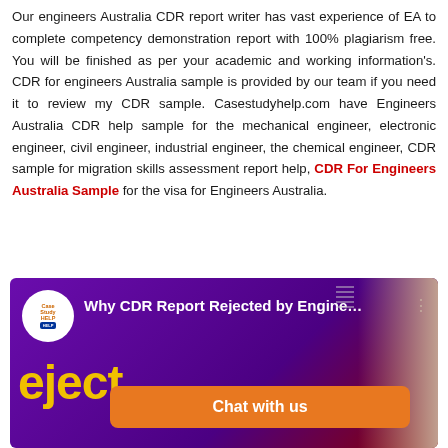Our engineers Australia CDR report writer has vast experience of EA to complete competency demonstration report with 100% plagiarism free. You will be finished as per your academic and working information's. CDR for engineers Australia sample is provided by our team if you need it to review my CDR sample. Casestudyhelp.com have Engineers Australia CDR help sample for the mechanical engineer, electronic engineer, civil engineer, industrial engineer, the chemical engineer, CDR sample for migration skills assessment report help, CDR For Engineers Australia Sample for the visa for Engineers Australia.
[Figure (screenshot): Video thumbnail with purple background showing 'Why CDR Report Rejected by Engine...' title, CaseStudyHelp.com logo, 'eject' text in yellow, a 'Chat with us' orange button, and a partial face on the right side.]